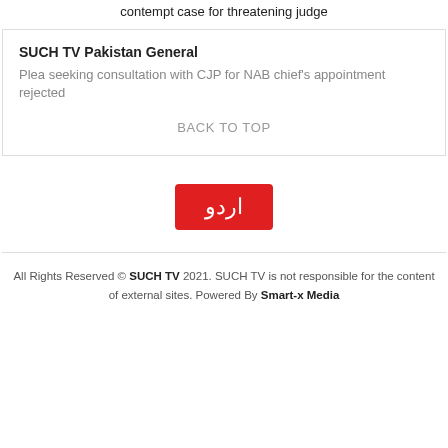contempt case for threatening judge
SUCH TV Pakistan General
Plea seeking consultation with CJP for NAB chief's appointment rejected
BACK TO TOP
[Figure (logo): Urdu script logo button in red background]
All Rights Reserved © SUCH TV 2021. SUCH TV is not responsible for the content of external sites. Powered By Smart-x Media